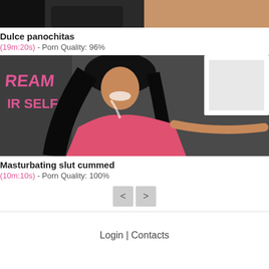[Figure (photo): Top cropped thumbnail image showing skin tones on dark background]
Dulce panochitas
(19m:20s) - Porn Quality: 96%
[Figure (photo): Woman with long dark hair wearing pink top, against a chalkboard background with text REAM IR SELF]
Masturbating slut cummed
(10m:10s) - Porn Quality: 100%
< >
Login | Contacts